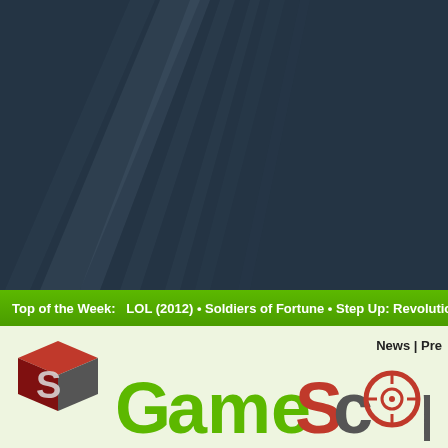[Figure (illustration): Dark blue-grey background with light ray streaks, serving as a website header hero image]
Top of the Week:   LOL (2012) • Soldiers of Fortune • Step Up: Revolution • T
News | Pre
[Figure (logo): GameScope logo with red and grey 3D cube icon on left, and GameScope text with green 'G', green 'ame', red 'S', grey 'c', crosshair target replacing 'o', grey 'pe']